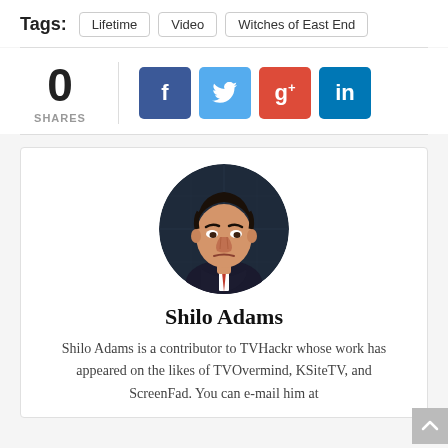Tags: Lifetime  Video  Witches of East End
0 SHARES
[Figure (infographic): Social share buttons: Facebook (f), Twitter (bird), Google+ (g+), LinkedIn (in)]
[Figure (illustration): Circular avatar illustration of Shilo Adams — stylized cartoon portrait of a man in a dark suit with red tie, against a dark blue background]
Shilo Adams
Shilo Adams is a contributor to TVHackr whose work has appeared on the likes of TVOvermind, KSiteTV, and ScreenFad. You can e-mail him at